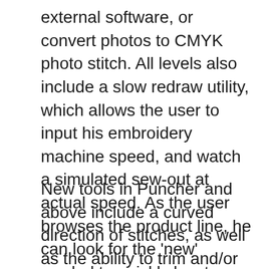external software, or convert photos to CMYK photo stitch. All levels also include a slow redraw utility, which allows the user to input his embroidery machine speed, and watch a simulated sew-out at actual speed. As the user browses the product line, he can look for the 'new' symbol to quickly locate even more of the new features. Some of its newer features include the circular array and rectangular array tools that are available in the Operator level.
New tools in Puncher and above include a curved direction of stitches, as well as the ability to trim and/or weld objects. The Pro level gives the ability to apply a different style per line, and the exciting new Chenille stitch type. Pilot is also perfect for beginners since it includes lettering